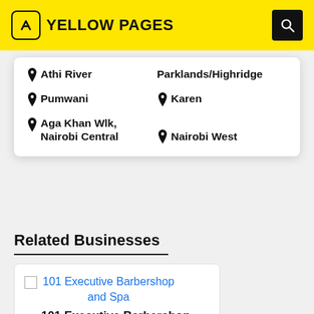YELLOW PAGES
Athi River
Parklands/Highridge
Pumwani
Karen
Aga Khan Wlk, Nairobi Central
Nairobi West
Related Businesses
101 Executive Barbershop and Spa
101 Executive Barbershop and Spa
KMA Centre, 1 Flr, block C